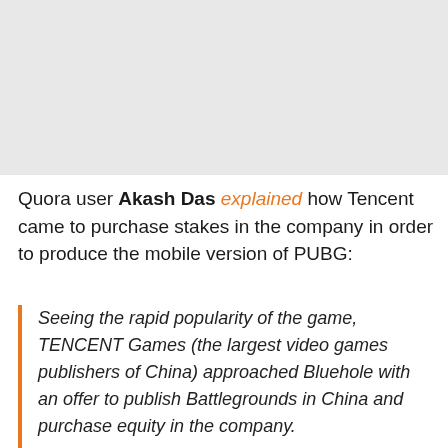[Figure (other): Gray placeholder image box at the top of the page]
Quora user Akash Das explained how Tencent came to purchase stakes in the company in order to produce the mobile version of PUBG:
Seeing the rapid popularity of the game, TENCENT Games (the largest video games publishers of China) approached Bluehole with an offer to publish Battlegrounds in China and purchase equity in the company.

However, the Chinese Govt issued a statement that discouraged battle royale-style games, stating that they are too violent and deviate